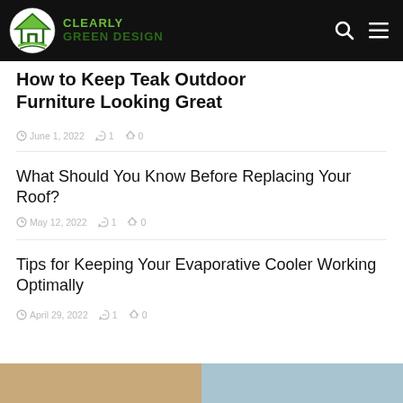CLEARLY GREEN DESIGN
How to Keep Teak Outdoor Furniture Looking Great
June 1, 2022  1  0
What Should You Know Before Replacing Your Roof?
May 12, 2022  1  0
Tips for Keeping Your Evaporative Cooler Working Optimally
April 29, 2022  1  0
[Figure (photo): Bottom strip showing two partial images: warm wooden tones on left, light blue/teal tones on right]